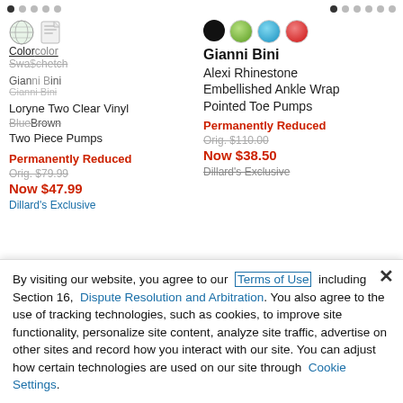[Figure (screenshot): Navigation dots row at top of page - two groups of dot indicators]
[Figure (screenshot): Left product: Color swatches (globe/clear icons), overlapping label texts Color/Swatch and Gianni Bini/brands, product name Loryne Two Clear Vinyl Blue/Brown Two Piece Pumps, Permanently Reduced, Orig. $79.99, Now $47.99, Dillard's Exclusive]
[Figure (screenshot): Right product: Four color dots (black, green, blue, red), Gianni Bini Alexi Rhinestone Embellished Ankle Wrap Pointed Toe Pumps, Permanently Reduced, Orig. $110.00, Now $38.50, Dillard's Exclusive]
By visiting our website, you agree to our Terms of Use including Section 16, Dispute Resolution and Arbitration. You also agree to the use of tracking technologies, such as cookies, to improve site functionality, personalize site content, analyze site traffic, advertise on other sites and record how you interact with our site. You can adjust how certain technologies are used on our site through Cookie Settings.